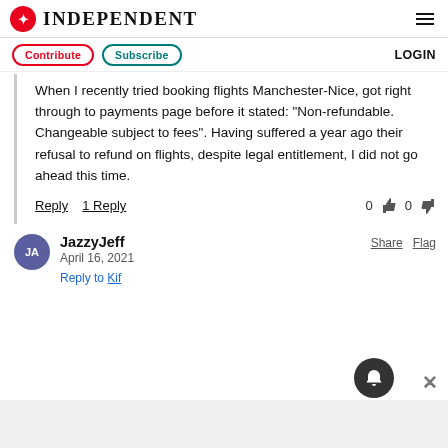INDEPENDENT
Contribute  Subscribe  LOGIN
When I recently tried booking flights Manchester-Nice, got right through to payments page before it stated: "Non-refundable. Changeable subject to fees". Having suffered a year ago their refusal to refund on flights, despite legal entitlement, I did not go ahead this time.
Reply  1 Reply  0  0
JazzyJeff
April 16, 2021
Reply to Kif